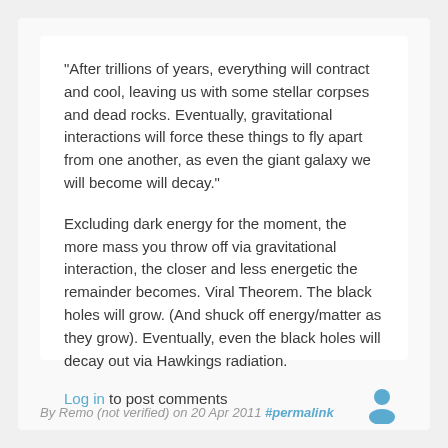"After trillions of years, everything will contract and cool, leaving us with some stellar corpses and dead rocks. Eventually, gravitational interactions will force these things to fly apart from one another, as even the giant galaxy we will become will decay."
Excluding dark energy for the moment, the more mass you throw off via gravitational interaction, the closer and less energetic the remainder becomes. Viral Theorem. The black holes will grow. (And shuck off energy/matter as they grow). Eventually, even the black holes will decay out via Hawkings radiation.
Log in to post comments
By Remo (not verified) on 20 Apr 2011 #permalink